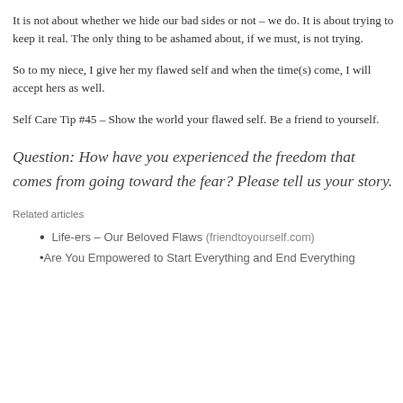It is not about whether we hide our bad sides or not – we do.  It is about trying to keep it real.  The only thing to be ashamed about, if we must, is not trying.
So to my niece, I give her my flawed self and when the time(s) come, I will accept hers as well.
Self Care Tip #45 – Show the world your flawed self.  Be a friend to yourself.
Question:  How have you experienced the freedom that comes from going toward the fear?  Please tell us your story.
Related articles
Life-ers – Our Beloved Flaws (friendtoyourself.com)
Are You Empowered to Start Everything and End Everything